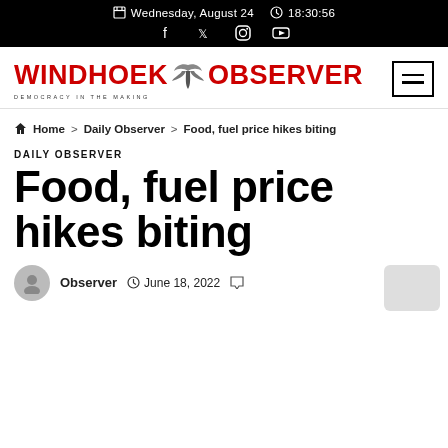Wednesday, August 24  18:30:56
[Figure (logo): Windhoek Observer newspaper logo with red text and bird graphic, tagline DEMOCRACY IN THE MAKING]
Home > Daily Observer > Food, fuel price hikes biting
DAILY OBSERVER
Food, fuel price hikes biting
Observer  June 18, 2022